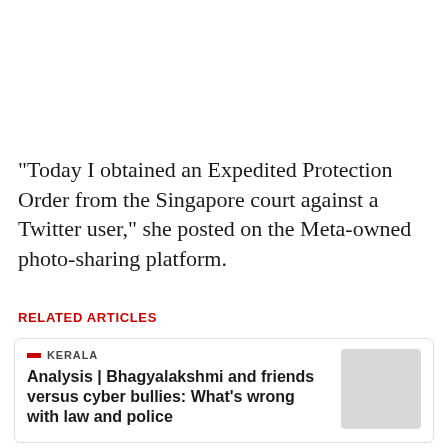"Today I obtained an Expedited Protection Order from the Singapore court against a Twitter user," she posted on the Meta-owned photo-sharing platform.
RELATED ARTICLES
Analysis | Bhagyalakshmi and friends versus cyber bullies: What's wrong with law and police